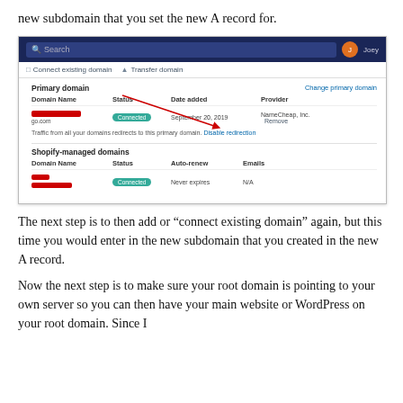new subdomain that you set the new A record for.
[Figure (screenshot): Shopify domain management dashboard screenshot showing Primary domain section with a redacted domain name marked as Connected, dated September 20, 2019, provider NameCheap, Inc., with Remove link. A red arrow points from the redacted domain name to the Provider column. Below is a Shopify-managed domains section with a redacted domain name also marked as Connected, Never expires, N/A emails. Red horizontal bars redact the domain names.]
The next step is to then add or “connect existing domain” again, but this time you would enter in the new subdomain that you created in the new A record.
Now the next step is to make sure your root domain is pointing to your own server so you can then have your main website or WordPress on your root domain. Since I